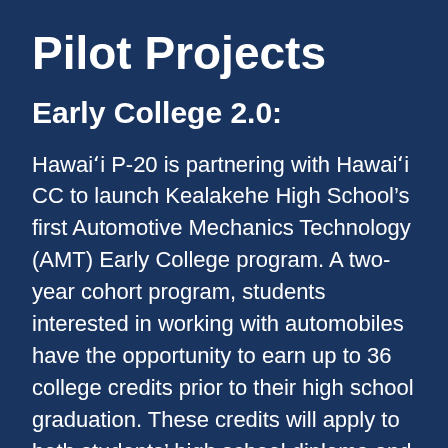Pilot Projects
Early College 2.0:
Hawaiʻi P-20 is partnering with Hawaiʻi CC to launch Kealakehe High School’s first Automotive Mechanics Technology (AMT) Early College program. A two-year cohort program, students interested in working with automobiles have the opportunity to earn up to 36 college credits prior to their high school graduation. These credits will apply to both students’ high school diploma and Associats